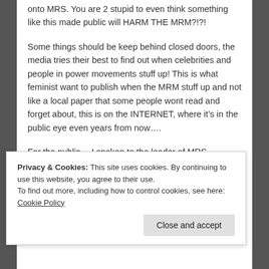onto MRS. You are 2 stupid to even think something like this made public will HARM THE MRM?!?!
Some things should be keep behind closed doors, the media tries their best to find out when celebrities and people in power movements stuff up! This is what feminist want to publish when the MRM stuff up and not like a local paper that some people wont read and forget about, this is on the INTERNET, where it's in the public eye even years from now….
For the public… I spoken to the leader of MRS (defender) about this days after my drunken episode. He was the one that told
Privacy & Cookies: This site uses cookies. By continuing to use this website, you agree to their use.
To find out more, including how to control cookies, see here: Cookie Policy
Close and accept